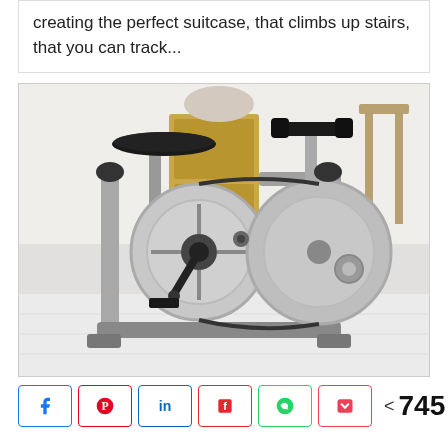creating the perfect suitcase, that climbs up stairs, that you can track...
[Figure (photo): A compact folding exercise bike / stationary bicycle with gray frame, black seat, black handlebars, and large circular flywheel, photographed in a bright indoor setting.]
< 745 SHARES — social share buttons: Facebook, Pinterest, LinkedIn, Flipboard, WhatsApp, Pocket